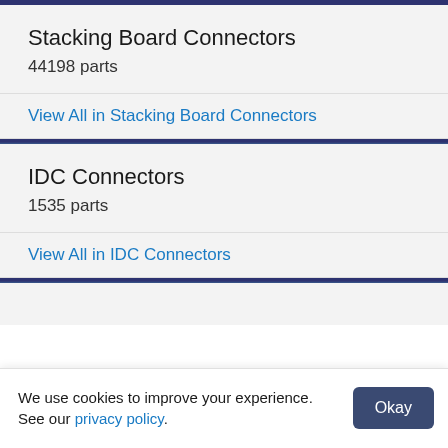Stacking Board Connectors
44198 parts
View All in Stacking Board Connectors
IDC Connectors
1535 parts
View All in IDC Connectors
We use cookies to improve your experience. See our privacy policy.